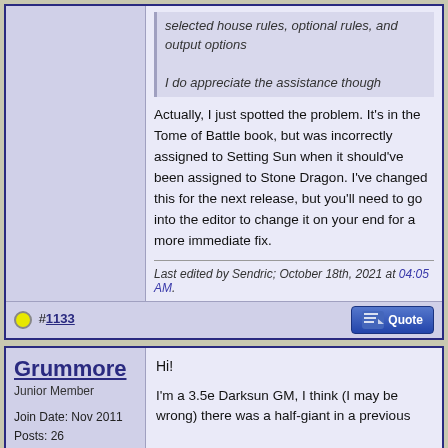selected house rules, optional rules, and output options

I do appreciate the assistance though
Actually, I just spotted the problem. It's in the Tome of Battle book, but was incorrectly assigned to Setting Sun when it should've been assigned to Stone Dragon. I've changed this for the next release, but you'll need to go into the editor to change it on your end for a more immediate fix.
Last edited by Sendric; October 18th, 2021 at 04:05 AM.
#1133
Grummore
Junior Member
Join Date: Nov 2011
Posts: 26
Hi!

I'm a 3.5e Darksun GM, I think (I may be wrong) there was a half-giant in a previous